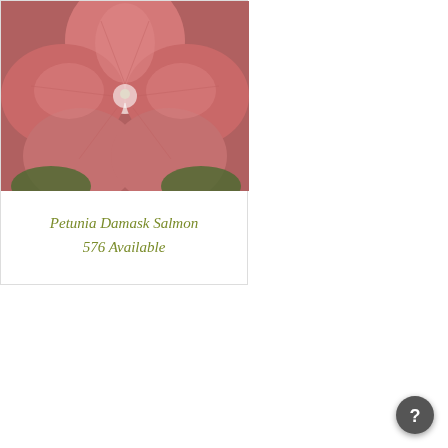[Figure (photo): Close-up photo of a salmon-pink petunia flower with ruffled petals]
Petunia Damask Salmon
576 Available
[Figure (photo): Close-up photo of a sedum plant with dense rosette-shaped succulent leaves in green and purple-red tones]